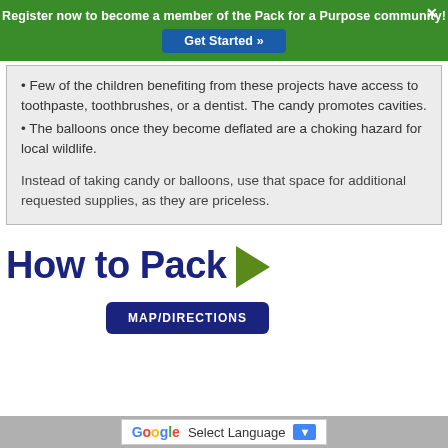Register now to become a member of the Pack for a Purpose community! Get Started »
• Few of the children benefiting from these projects have access to toothpaste, toothbrushes, or a dentist. The candy promotes cavities.
• The balloons once they become deflated are a choking hazard for local wildlife.
Instead of taking candy or balloons, use that space for additional requested supplies, as they are priceless.
How to Pack ▶
MAP/DIRECTIONS
G Select Language ▼